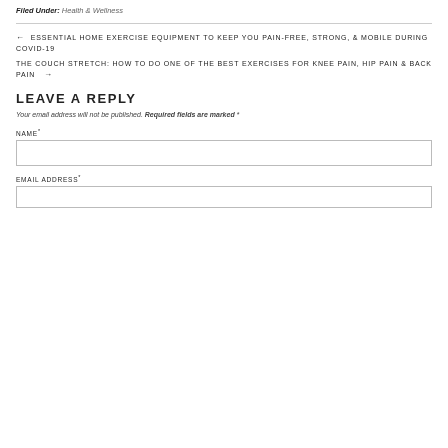Filed Under: Health & Wellness
← ESSENTIAL HOME EXERCISE EQUIPMENT TO KEEP YOU PAIN-FREE, STRONG, & MOBILE DURING COVID-19
THE COUCH STRETCH: HOW TO DO ONE OF THE BEST EXERCISES FOR KNEE PAIN, HIP PAIN & BACK PAIN →
LEAVE A REPLY
Your email address will not be published. Required fields are marked *
NAME*
EMAIL ADDRESS*